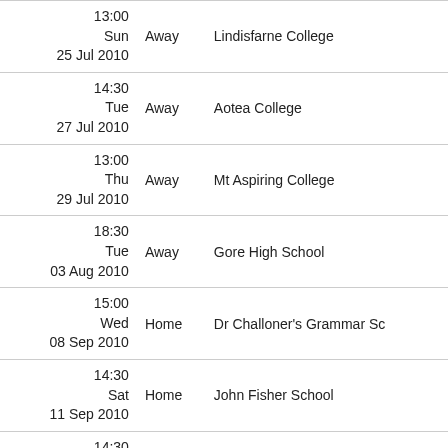| Date/Time | Venue | Opponent |
| --- | --- | --- |
| 13:00
Sun
25 Jul 2010 | Away | Lindisfarne College |
| 14:30
Tue
27 Jul 2010 | Away | Aotea College |
| 13:00
Thu
29 Jul 2010 | Away | Mt Aspiring College |
| 18:30
Tue
03 Aug 2010 | Away | Gore High School |
| 15:00
Wed
08 Sep 2010 | Home | Dr Challoner's Grammar Sc |
| 14:30
Sat
11 Sep 2010 | Home | John Fisher School |
| 14:30
Sat
18 Sep 2010 | Away | Millfield School |